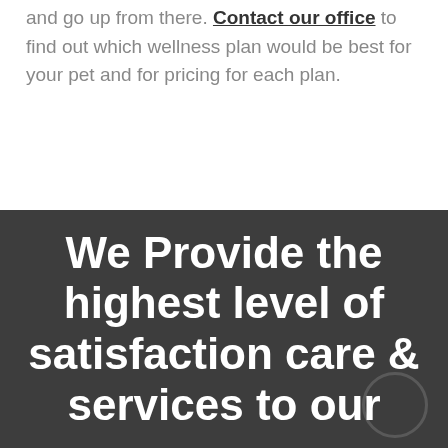and go up from there. Contact our office to find out which wellness plan would be best for your pet and for pricing for each plan.
We Provide the highest level of satisfaction care & services to our